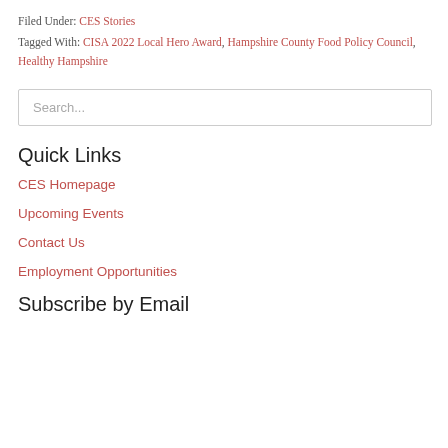Filed Under: CES Stories
Tagged With: CISA 2022 Local Hero Award, Hampshire County Food Policy Council, Healthy Hampshire
Search...
Quick Links
CES Homepage
Upcoming Events
Contact Us
Employment Opportunities
Subscribe by Email